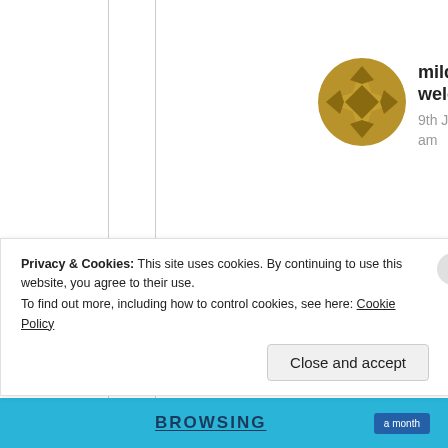[Figure (illustration): Gold/dark yellow star-like avatar icon for user mildredprince welch]
mildredprince welch
9th Jul 2021 at 3:28 am
You know and I know who your post is talking about=get on your knees and beg me to give you a
Privacy & Cookies: This site uses cookies. By continuing to use this website, you agree to their use. To find out more, including how to control cookies, see here: Cookie Policy
Close and accept